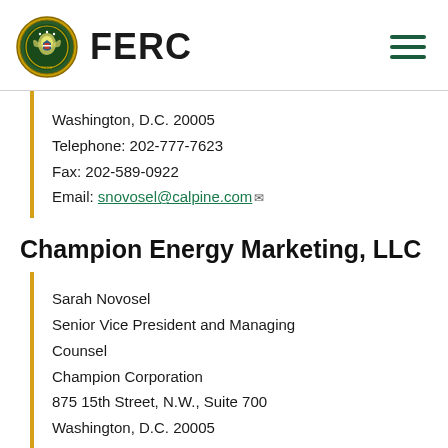FERC
Washington, D.C. 20005
Telephone: 202-777-7623
Fax: 202-589-0922
Email: snovosel@calpine.com
Champion Energy Marketing, LLC
Sarah Novosel
Senior Vice President and Managing Counsel
Champion Corporation
875 15th Street, N.W., Suite 700
Washington, D.C. 20005
Telephone: 202-777-7623